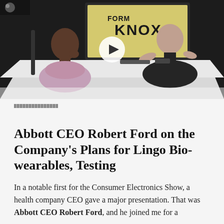[Figure (screenshot): Video thumbnail showing two men seated at a white table in a dark room. One man in a pink shirt on the left listens thoughtfully, the other in a black turtleneck on the right gestures with his hands. A screen in the background shows 'KNOX' branding. A white play button circle is overlaid in the center.]
Abbott CEO Robert Ford on the Company's Plans for Lingo Bio-wearables, Testing
In a notable first for the Consumer Electronics Show, a health company CEO gave a major presentation. That was Abbott CEO Robert Ford, and he joined me for a